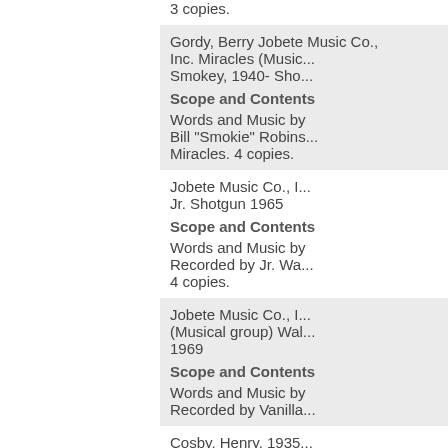3 copies.
Gordy, Berry Jobete Music Co., Inc. Miracles (Musical group) Smokey, 1940- Sho...
Scope and Contents
Words and Music by Bill "Smokie" Robinson. Recorded by Miracles. 4 copies.
Jobete Music Co., I... Jr. Shotgun 1965
Scope and Contents
Words and Music by... Recorded by Jr. Wa... 4 copies.
Jobete Music Co., I... (Musical group) Wal... 1969
Scope and Contents
Words and Music by... Recorded by Vanilla...
Cosby, Henry, 1935...